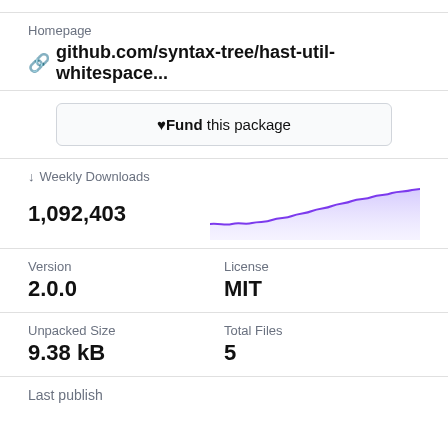Homepage
github.com/syntax-tree/hast-util-whitespace...
♥Fund this package
↓ Weekly Downloads
1,092,403
[Figure (area-chart): Weekly downloads area chart showing an upward trend, purple/lavender fill, rising from left to right]
Version
2.0.0
License
MIT
Unpacked Size
9.38 kB
Total Files
5
Last publish